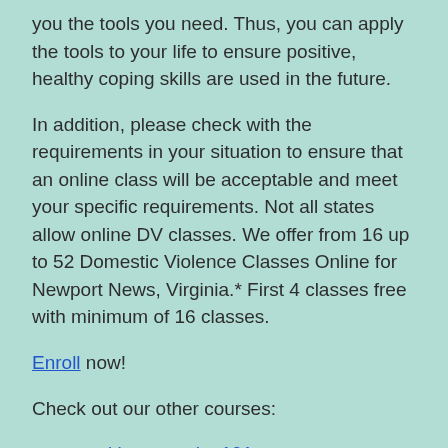you the tools you need. Thus, you can apply the tools to your life to ensure positive, healthy coping skills are used in the future.
In addition, please check with the requirements in your situation to ensure that an online class will be acceptable and meet your specific requirements. Not all states allow online DV classes. We offer from 16 up to 52 Domestic Violence Classes Online for Newport News, Virginia.* First 4 classes free with minimum of 16 classes.
Enroll now!
Check out our other courses:
www.positiveparenting101.com
www.magicalmarriagein21days.com